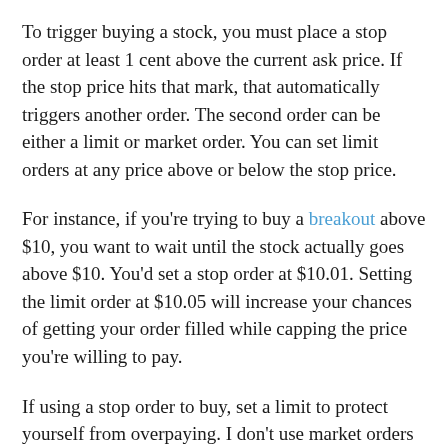To trigger buying a stock, you must place a stop order at least 1 cent above the current ask price. If the stop price hits that mark, that automatically triggers another order. The second order can be either a limit or market order. You can set limit orders at any price above or below the stop price.
For instance, if you're trying to buy a breakout above $10, you want to wait until the stock actually goes above $10. You'd set a stop order at $10.01. Setting the limit order at $10.05 will increase your chances of getting your order filled while capping the price you're willing to pay.
If using a stop order to buy, set a limit to protect yourself from overpaying. I don't use market orders